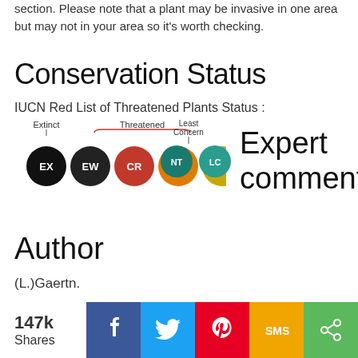section. Please note that a plant may be invasive in one area but may not in your area so it's worth checking.
Conservation Status
IUCN Red List of Threatened Plants Status :
[Figure (infographic): IUCN Red List status circles showing EX (black), EW (black), CR (red), EN (orange), VU (yellow-olive), NT (teal), LC (teal-green) with labels Extinct, Threatened (brace over CR/EN/VU), Least Concern above NT/LC]
Expert comment
Author
(L.)Gaertn.
Botanical References
17200
147k Shares